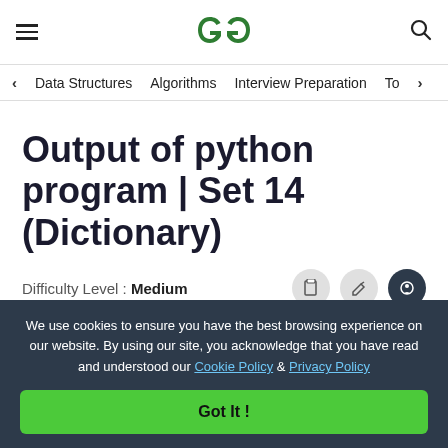GeeksforGeeks header with hamburger menu, logo, and search icon
< Data Structures   Algorithms   Interview Preparation   To>
Output of python program | Set 14 (Dictionary)
Difficulty Level : Medium
We use cookies to ensure you have the best browsing experience on our website. By using our site, you acknowledge that you have read and understood our Cookie Policy & Privacy Policy
Got It !